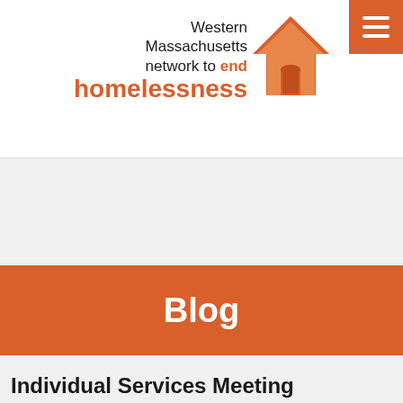[Figure (logo): Western Massachusetts network to end homelessness logo with orange house icon]
Blog
Individual Services Meeting